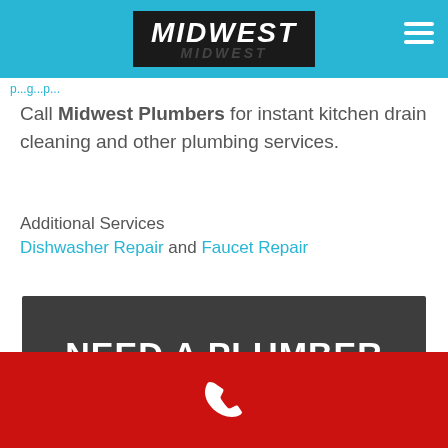[Figure (logo): Midwest Plumbers logo on blue header bar with hamburger menu icon]
Call Midwest Plumbers for instant kitchen drain cleaning and other plumbing services.
Additional Services
Dishwasher Repair and Faucet Repair
NEED A PLUMBER
Call us today to get started!
[Figure (other): Phone number button with dark gray background, partially visible]
[Figure (other): Red bar at bottom with white phone icon]